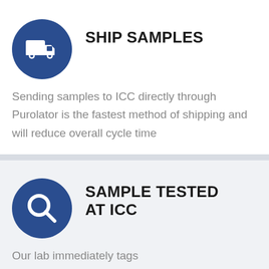[Figure (illustration): Dark blue circle with white delivery truck icon]
SHIP SAMPLES
Sending samples to ICC directly through Purolator is the fastest method of shipping and will reduce overall cycle time
[Figure (illustration): Dark blue circle with white magnifying glass / search icon]
SAMPLE TESTED AT ICC
Our lab immediately tags